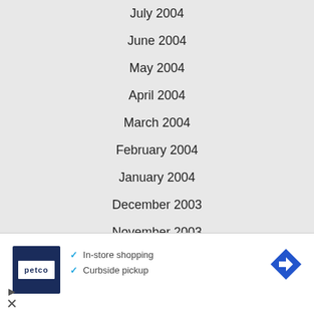July 2004
June 2004
May 2004
April 2004
March 2004
February 2004
January 2004
December 2003
November 2003
October 2003
September 2003
August 2003
July 2003
[Figure (other): Petco advertisement banner with checkmarks for In-store shopping and Curbside pickup]